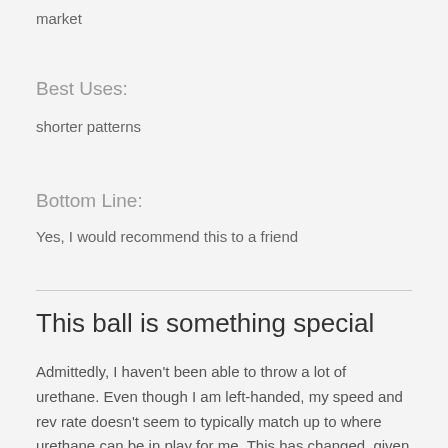market
Best Uses:
shorter patterns
Bottom Line:
Yes, I would recommend this to a friend
This ball is something special
Admittedly, I haven't been able to throw a lot of urethane. Even though I am left-handed, my speed and rev rate doesn't seem to typically match up to where urethane can be in play for me. This has changed, given the